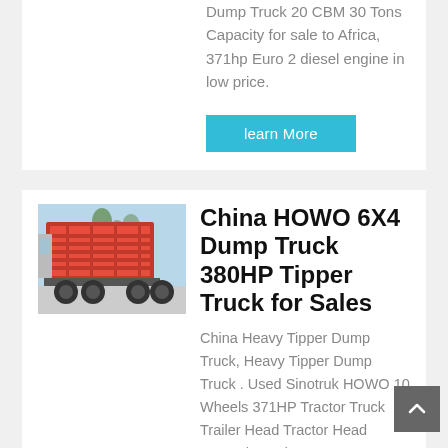Dump Truck 20 CBM 30 Tons Capacity for sale to Africa, 371hp Euro 2 diesel engine in low price.
learn More
[Figure (photo): Red HOWO dump truck viewed from the rear-left side, parked outdoors with trees in background]
China HOWO 6X4 Dump Truck 380HP Tipper Truck for Sales
China Heavy Tipper Dump Truck, Heavy Tipper Dump Truck . Used Sinotruk HOWO 10 Wheels 371HP Tractor Truck Trailer Head Tractor Head Second Hand Heavy Duty Trucks Tipper Truck 6X4 Dump Truck